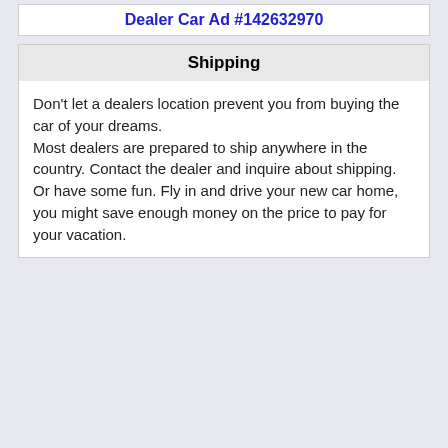Dealer Car Ad #142632970
Shipping
Don't let a dealers location prevent you from buying the car of your dreams.
Most dealers are prepared to ship anywhere in the country. Contact the dealer and inquire about shipping.
Or have some fun. Fly in and drive your new car home, you might save enough money on the price to pay for your vacation.